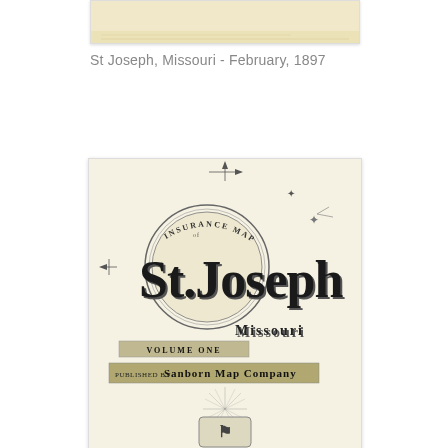[Figure (photo): Top portion of a yellowed/aged document or map page, partially visible]
St Joseph, Missouri - February, 1897
[Figure (illustration): Sanborn Map Company insurance maps cover page for St Joseph, Missouri, Volume One, featuring ornate Victorian typography with 'Insurance Maps of St Joseph Missouri Volume One Published by Sanborn Map Company']